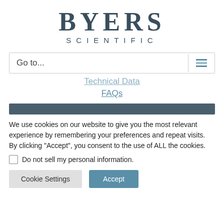[Figure (logo): Byers Scientific logo with large serif BYERS text and spaced sans-serif SCIENTIFIC subtitle]
Go to...
Technical Data
FAQs
We use cookies on our website to give you the most relevant experience by remembering your preferences and repeat visits. By clicking "Accept", you consent to the use of ALL the cookies.
Do not sell my personal information.
Cookie Settings
Accept